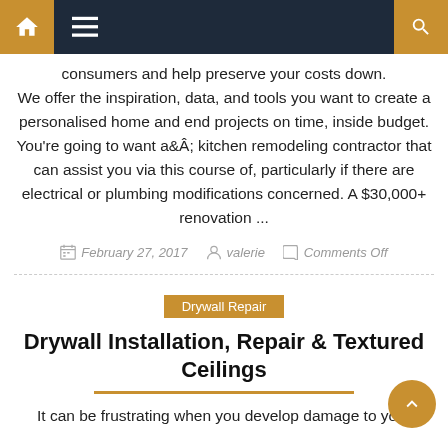Navigation bar with home, menu, and search icons
consumers and help preserve your costs down. We offer the inspiration, data, and tools you want to create a personalised home and end projects on time, inside budget. You’re going to want aÂ kitchen remodeling contractor that can assist you via this course of, particularly if there are electrical or plumbing modifications concerned. A $30,000+ renovation ...
February 27, 2017   valerie   Comments Off
Drywall Repair
Drywall Installation, Repair & Textured Ceilings
It can be frustrating when you develop damage to your